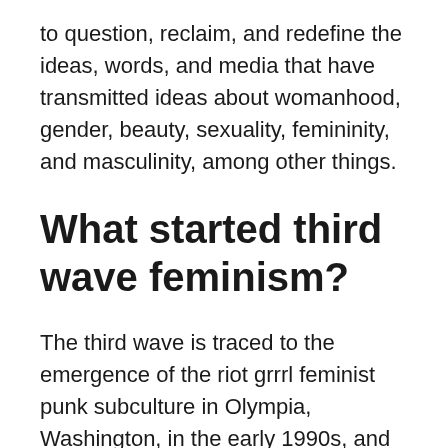to question, reclaim, and redefine the ideas, words, and media that have transmitted ideas about womanhood, gender, beauty, sexuality, femininity, and masculinity, among other things.
What started third wave feminism?
The third wave is traced to the emergence of the riot grrrl feminist punk subculture in Olympia, Washington, in the early 1990s, and to Anita Hill's televised testimony in 1991—to an all-male, all-white Senate Judiciary Committee—that African-American judge Clarence Thomas, nominated for and eventually confirmed to the ...